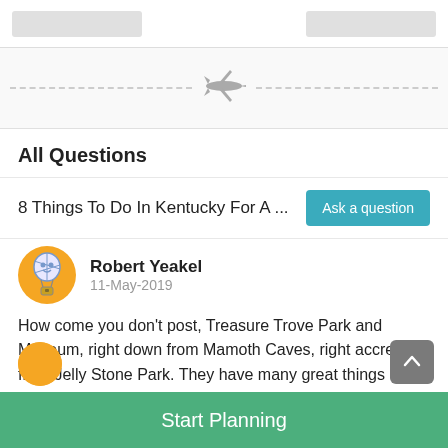[Figure (illustration): Two gray navigation tab bars at top of page]
[Figure (illustration): Horizontal dashed line with a gray airplane icon centered on it, decorative divider]
All Questions
8 Things To Do In Kentucky For A ...
Ask a question
[Figure (illustration): User avatar: circular icon with hot air balloon cartoon on yellow/orange background]
Robert Yeakel
11-May-2019
How come you don't post, Treasure Trove Park and Museum, right down from Mamoth Caves, right accress from Jelly Stone Park. They have many great things on exibit.
Answer   Report Abuse
Start Planning